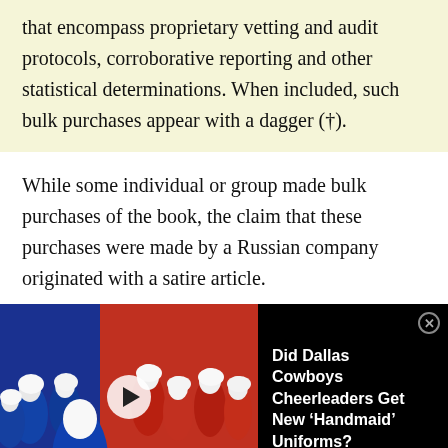that encompass proprietary vetting and audit protocols, corroborative reporting and other statistical determinations. When included, such bulk purchases appear with a dagger (†).
While some individual or group made bulk purchases of the book, the claim that these purchases were made by a Russian company originated with a satire article.
[Figure (photo): Photo of people dressed in blue and red Handmaid's Tale costumes with white bonnets. An overlay shows a video thumbnail with a play button, and a dark panel with the text 'Did Dallas Cowboys Cheerleaders Get New Handmaid Uniforms?' and a close button.]
By Snopes Staff
Published 15 November 2019